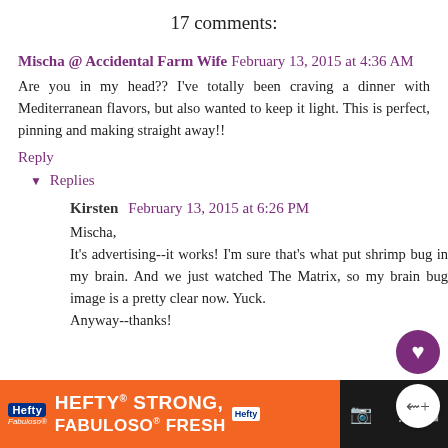17 comments:
Mischa @ Accidental Farm Wife February 13, 2015 at 4:36 AM
Are you in my head?? I've totally been craving a dinner with Mediterranean flavors, but also wanted to keep it light. This is perfect, pinning and making straight away!!
Reply
▼ Replies
Kirsten February 13, 2015 at 6:26 PM
Mischa,
It's advertising--it works! I'm sure that's what put shrimp bug in my brain. And we just watched The Matrix, so my brain bug image is a pretty clear now. Yuck.
Anyway--thanks!
[Figure (screenshot): Advertisement banner for Hefty and Fabuloso products with orange background and text HEFTY STRONG, FABULOSO FRESH]